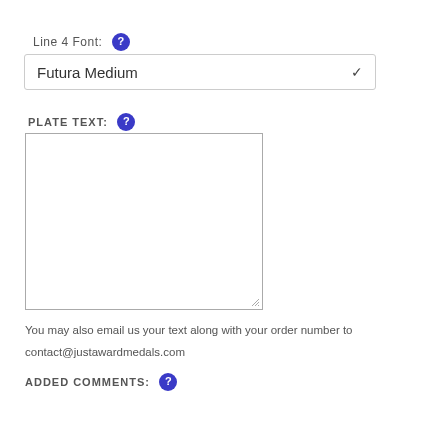Line 4 Font: ?
Futura Medium
PLATE TEXT: ?
[Figure (screenshot): Empty textarea input box with resize handle]
You may also email us your text along with your order number to
contact@justawardmedals.com
ADDED COMMENTS: ?